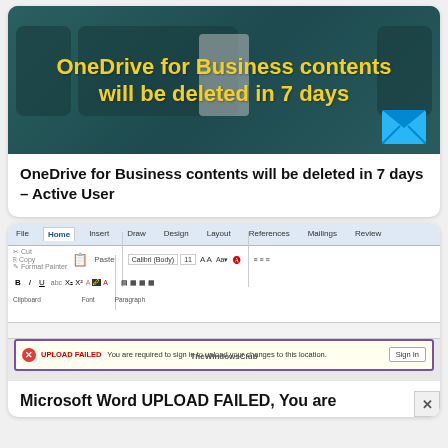[Figure (screenshot): Screenshot card showing OneDrive for Business warning image with yellow bold text on teal background saying 'OneDrive for Business contents will be deleted in 7 days' and a blue envelope icon]
OneDrive for Business contents will be deleted in 7 days – Active User
[Figure (screenshot): Screenshot of Microsoft Word ribbon interface showing an UPLOAD FAILED error bar with message 'You are required to sign in to upload your changes to this location.' and a Sign In button, with TheWindowsClub watermark]
Microsoft Word UPLOAD FAILED, You are